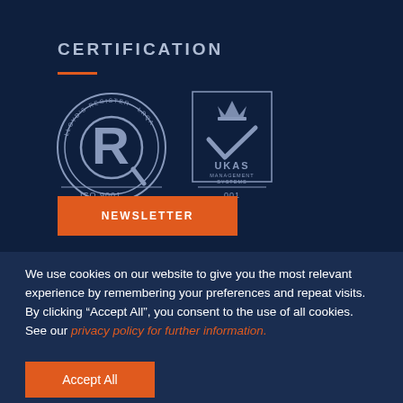CERTIFICATION
[Figure (logo): Lloyd's Register LRQA ISO 9001 certification logo and UKAS Management Systems 001 logo side by side on dark navy background]
NEWSLETTER
We use cookies on our website to give you the most relevant experience by remembering your preferences and repeat visits. By clicking “Accept All”, you consent to the use of all cookies. See our privacy policy for further information.
Accept All